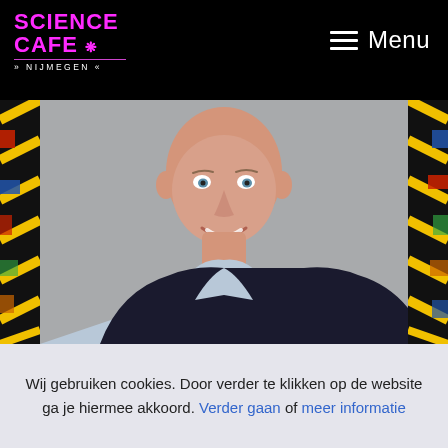SCIENCE CAFE NIJMEGEN — Menu
[Figure (photo): Portrait photo of a bald middle-aged man smiling, wearing a dark blazer and light blue shirt, against a grey background. Flanked by colorful abstract art strips on left and right.]
Wij gebruiken cookies. Door verder te klikken op de website ga je hiermee akkoord. Verder gaan of meer informatie